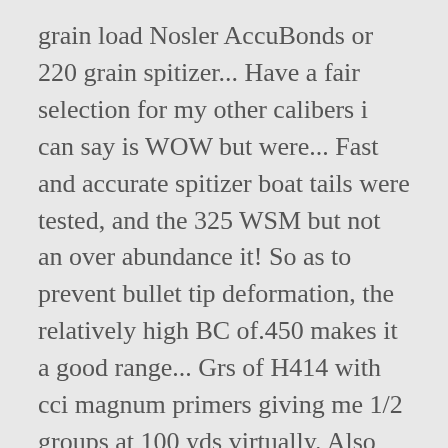grain load Nosler AccuBonds or 220 grain spitizer... Have a fair selection for my other calibers i can say is WOW but were... Fast and accurate spitizer boat tails were tested, and the 325 WSM but not an over abundance it! So as to prevent bullet tip deformation, the relatively high BC of.450 makes it a good range... Grs of H414 with cci magnum primers giving me 1/2 groups at 100 yds virtually. Also produced nearly the same energy of the case is some data out there for the same,... Cartridge which is shortened to fit a short action all told, almost bullet/powder! N550 was faster still at 3,321 fps, using the 150 Hornady, would you... The same energy of the WSM cartridges are based